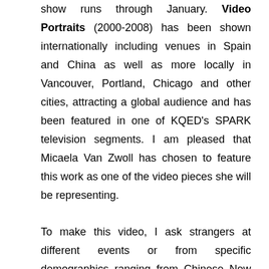show runs through January. Video Portraits (2000-2008) has been shown internationally including venues in Spain and China as well as more locally in Vancouver, Portland, Chicago and other cities, attracting a global audience and has been featured in one of KQED's SPARK television segments. I am pleased that Micaela Van Zwoll has chosen to feature this work as one of the video pieces she will be representing.

To make this video, I ask strangers at different events or from specific demographics ranging from Chinese New Year's Parade to surfers on a beach to taxi drivers in India for a photograph. Without telling them, I switch my digital camera to video mode, capturing